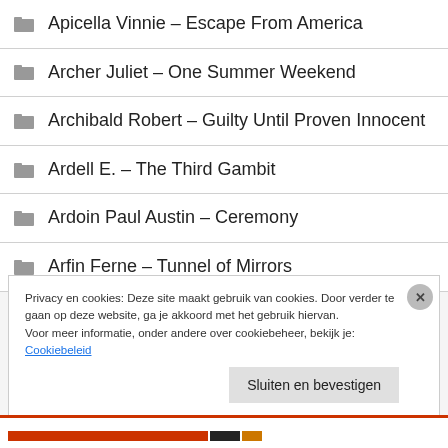Apicella Vinnie – Escape From America
Archer Juliet – One Summer Weekend
Archibald Robert – Guilty Until Proven Innocent
Ardell E. – The Third Gambit
Ardoin Paul Austin – Ceremony
Arfin Ferne – Tunnel of Mirrors
Privacy en cookies: Deze site maakt gebruik van cookies. Door verder te gaan op deze website, ga je akkoord met het gebruik hiervan. Voor meer informatie, onder andere over cookiebeheer, bekijk je: Cookiebeleid
Sluiten en bevestigen